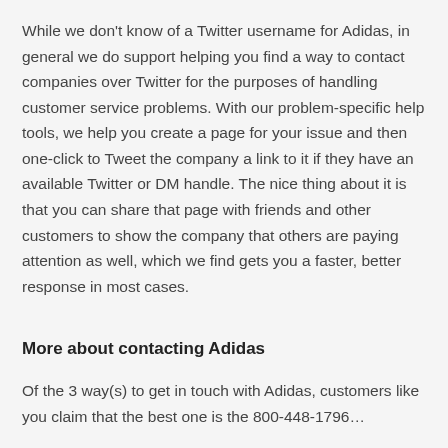While we don't know of a Twitter username for Adidas, in general we do support helping you find a way to contact companies over Twitter for the purposes of handling customer service problems. With our problem-specific help tools, we help you create a page for your issue and then one-click to Tweet the company a link to it if they have an available Twitter or DM handle. The nice thing about it is that you can share that page with friends and other customers to show the company that others are paying attention as well, which we find gets you a faster, better response in most cases.
More about contacting Adidas
Of the 3 way(s) to get in touch with Adidas, customers like you claim that the best one is the 800-448-1796...